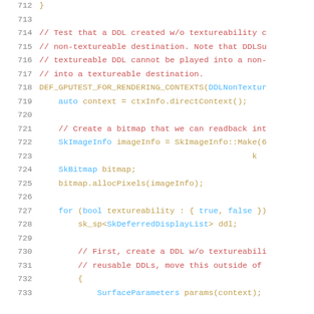Source code listing, lines 712-733, C++ GPU test code